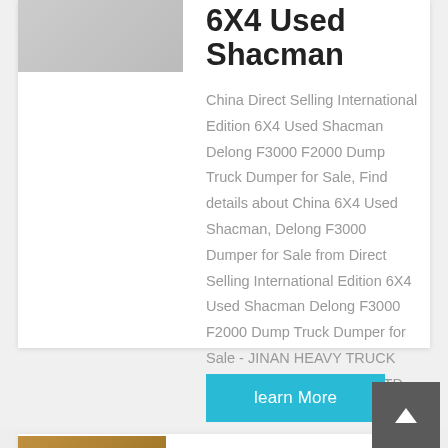6X4 Used Shacman
China Direct Selling International Edition 6X4 Used Shacman Delong F3000 F2000 Dump Truck Dumper for Sale, Find details about China 6X4 Used Shacman, Delong F3000 Dumper for Sale from Direct Selling International Edition 6X4 Used Shacman Delong F3000 F2000 Dump Truck Dumper for Sale - JINAN HEAVY TRUCK IMPORT & EXPORT CO., LTD.
[Figure (photo): Product image of Shacman truck (partially visible at top-left)]
[Figure (photo): Thumbnail image of second product (partially visible at bottom-left)]